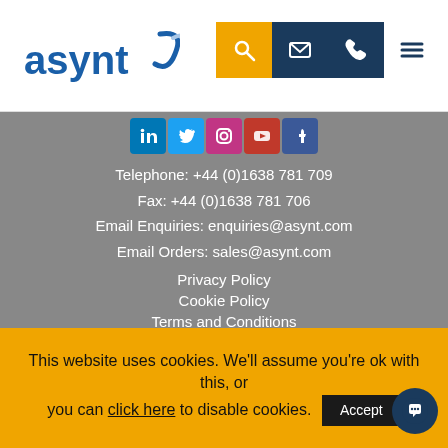[Figure (logo): Asynt logo with blue text and swish icon]
[Figure (infographic): Navigation icons: orange search, dark blue email, dark blue phone, hamburger menu]
[Figure (infographic): Social media icons row: LinkedIn, Twitter, Instagram, YouTube, Facebook]
Telephone: +44 (0)1638 781 709
Fax: +44 (0)1638 781 706
Email Enquiries: enquiries@asynt.com
Email Orders: sales@asynt.com
Privacy Policy
Cookie Policy
Terms and Conditions
Sitemap
Asynt, Unit 29 Hall Barn Road Industrial Estate, Isleham
This website uses cookies. We'll assume you're ok with this, or you can click here to disable cookies. Accept